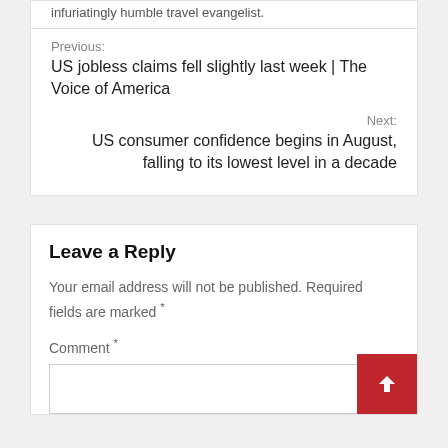infuriatingly humble travel evangelist.
Previous:
US jobless claims fell slightly last week | The Voice of America
Next:
US consumer confidence begins in August, falling to its lowest level in a decade
Leave a Reply
Your email address will not be published. Required fields are marked *
Comment *